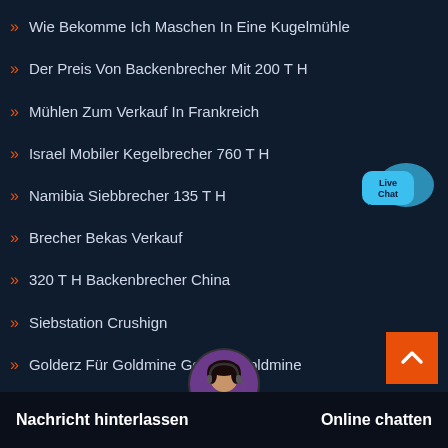Wie Bekomme Ich Maschen In Eine Kugelmühle
Der Preis Von Backenbrecher Mit 200 T H
Mühlen Zum Verkauf In Frankreich
Israel Mobiler Kegelbrecher 760 T H
Namibia Siebbrecher 135 T H
Brecher Bekas Verkauf
320 T H Backenbrecher China
Siebstation Crushign
Golderz Für Goldmine Golderz Goldmine
[Figure (illustration): Live Chat speech bubble icon with blue color and 'Live Chat' text]
[Figure (illustration): Orange scroll-to-top button with upward chevron arrow]
[Figure (photo): Customer support agent avatar — woman with headset]
Nachricht hinterlassen   Online chatten